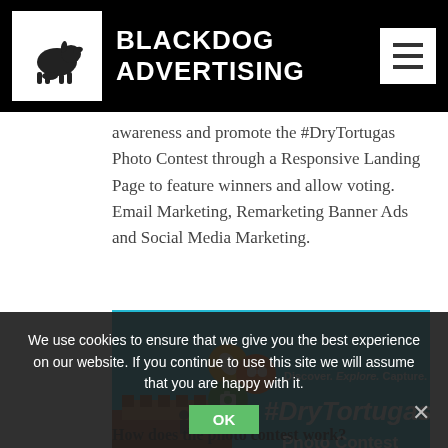BLACKDOG ADVERTISING
awareness and promote the #DryTortugas Photo Contest through a Responsive Landing Page to feature winners and allow voting. Email Marketing, Remarketing Banner Ads and Social Media Marketing.
[Figure (photo): DryTortugas Photo Contest promotional banner showing fort ruins by ocean, with colorful social media icons and text: 'Discover. Explore. Capture. #DryTortugas Photo Contest' with Snap, Tag, Vote buttons]
We use cookies to ensure that we give you the best experience on our website. If you continue to use this site we will assume that you are happy with it.
How does the photo contest work?